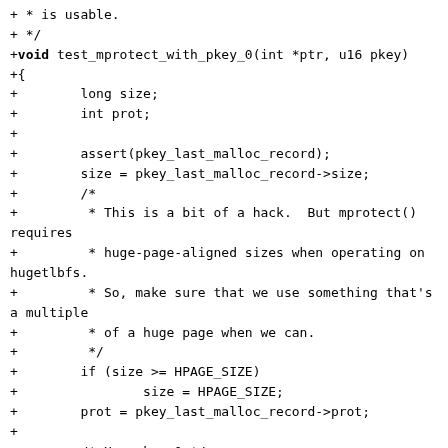+ * is usable.
+ */
+void test_mprotect_with_pkey_0(int *ptr, u16 pkey)
+{
+        long size;
+        int prot;
+
+        assert(pkey_last_malloc_record);
+        size = pkey_last_malloc_record->size;
+        /*
+         * This is a bit of a hack.  But mprotect() requires
+         * huge-page-aligned sizes when operating on hugetlbfs.
+         * So, make sure that we use something that's a multiple
+         * of a huge page when we can.
+         */
+        if (size >= HPAGE_SIZE)
+                size = HPAGE_SIZE;
+        prot = pkey_last_malloc_record->prot;
+
+        /* Use pkey 0 */
+        mprotect_pkey(ptr, size, prot, 0);
+
+        /* Make sure that we can set it back to the original pkey. */
+        mprotect_pkey(ptr, size, prot, pkey);
+}